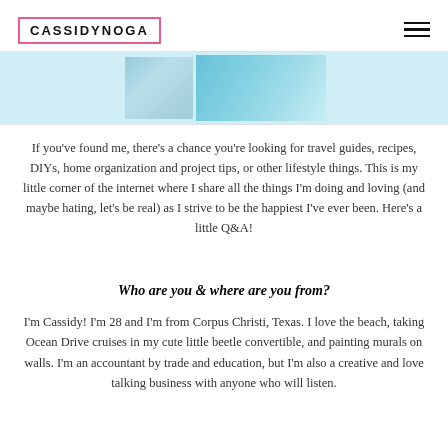CASSIDYNOGA
[Figure (photo): Partial photo strip showing turquoise/blue painted or water imagery, cropped at top of content area]
If you've found me, there's a chance you're looking for travel guides, recipes, DIYs, home organization and project tips, or other lifestyle things. This is my little corner of the internet where I share all the things I'm doing and loving (and maybe hating, let's be real) as I strive to be the happiest I've ever been. Here's a little Q&A!
Who are you & where are you from?
I'm Cassidy! I'm 28 and I'm from Corpus Christi, Texas. I love the beach, taking Ocean Drive cruises in my cute little beetle convertible, and painting murals on walls. I'm an accountant by trade and education, but I'm also a creative and love talking business with anyone who will listen.